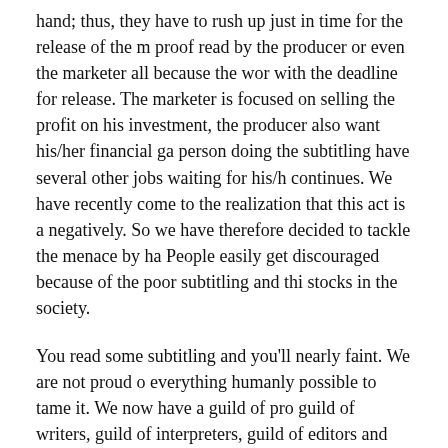hand; thus, they have to rush up just in time for the release of the m proof read by the producer or even the marketer all because the wor with the deadline for release. The marketer is focused on selling the profit on his investment, the producer also want his/her financial ga person doing the subtitling have several other jobs waiting for his/h continues. We have recently come to the realization that this act is a negatively. So we have therefore decided to tackle the menace by ha People easily get discouraged because of the poor subtitling and thi stocks in the society.
You read some subtitling and you'll nearly faint. We are not proud o everything humanly possible to tame it. We now have a guild of pro guild of writers, guild of interpreters, guild of editors and the rest. S guild of producers, you will not be allowed to produce a movie, if y of writers, you will not be allowed to write a script and so on. With we can control and tame the activities of everybody involved in a m that it is free for all. For now, anybody with capital can just come i very soon, that would become impossible. In a short while, the new